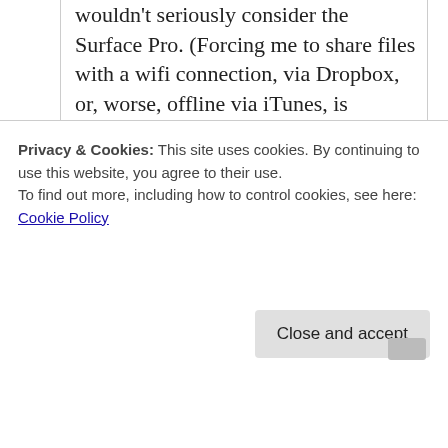wouldn't seriously consider the Surface Pro. (Forcing me to share files with a wifi connection, via Dropbox, or, worse, offline via iTunes, is unacceptable.)
My wife also has an iPad Mini which I got her. She tried doing some of her work on it but became too frustrated. Part of that was probably the screen size but she also does lots of work in
Privacy & Cookies: This site uses cookies. By continuing to use this website, you agree to their use.
To find out more, including how to control cookies, see here: Cookie Policy
Close and accept
least non-average-consumer, use, of course, which was not really the